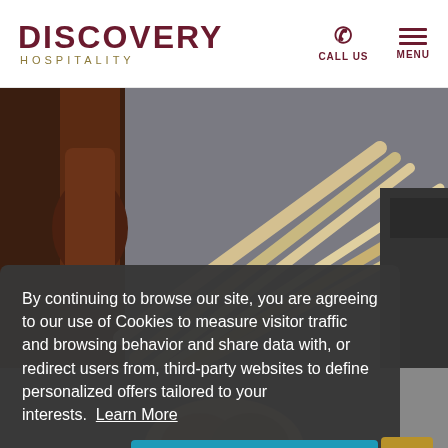DISCOVERY HOSPITALITY — CALL US | MENU
[Figure (photo): Food photography showing what appears to be bread sticks or similar food items next to a dark wooden object, with additional food/kitchen items partially visible on the right side. A partial photo at the bottom shows hands.]
By continuing to browse our site, you are agreeing to our use of Cookies to measure visitor traffic and browsing behavior and share data with, or redirect users from, third-party websites to define personalized offers tailored to your interests.  Learn More
Decline  |  I CONSENT  |  ^